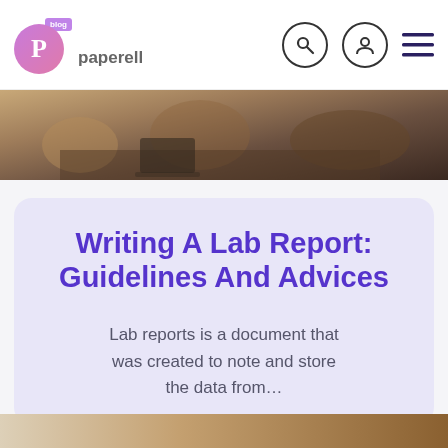paperell blog
[Figure (photo): Photo of people working together at a table with laptops and coffee cups]
Writing A Lab Report: Guidelines And Advices
Lab reports is a document that was created to note and store the data from...
[Figure (photo): Partial thumbnail of another article at the bottom of the page]